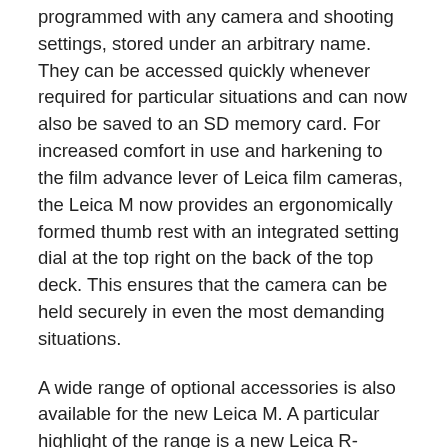programmed with any camera and shooting settings, stored under an arbitrary name. They can be accessed quickly whenever required for particular situations and can now also be saved to an SD memory card. For increased comfort in use and harkening to the film advance lever of Leica film cameras, the Leica M now provides an ergonomically formed thumb rest with an integrated setting dial at the top right on the back of the top deck. This ensures that the camera can be held securely in even the most demanding situations.
A wide range of optional accessories is also available for the new Leica M. A particular highlight of the range is a new Leica R-Adapter M that allows almost all R-Lenses ever built to be mounted on the camera. The use of Leica R-System lenses now opens up vast new possibilities for zoom, telephoto and macro photography.
Further accessories are the Leica EVF2, Visoflex electronic viewfinder and a multifunctional handgrip-M with an integrated GPS module that, in combination with optional finger loops in various sizes (S, M and L), helps to ensure safe and steady